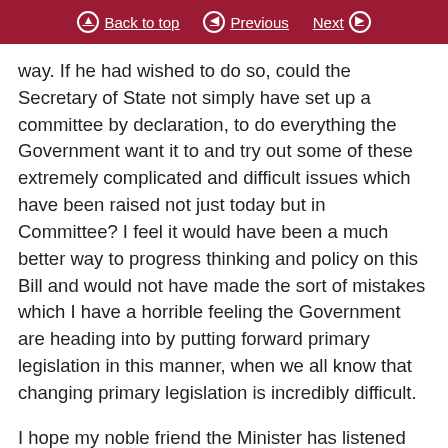Back to top   Previous   Next
way. If he had wished to do so, could the Secretary of State not simply have set up a committee by declaration, to do everything the Government want it to and try out some of these extremely complicated and difficult issues which have been raised not just today but in Committee? I feel it would have been a much better way to progress thinking and policy on this Bill and would not have made the sort of mistakes which I have a horrible feeling the Government are heading into by putting forward primary legislation in this manner, when we all know that changing primary legislation is incredibly difficult.
I hope my noble friend the Minister has listened very carefully to the noble Earl, Lord Kinnoull, who made